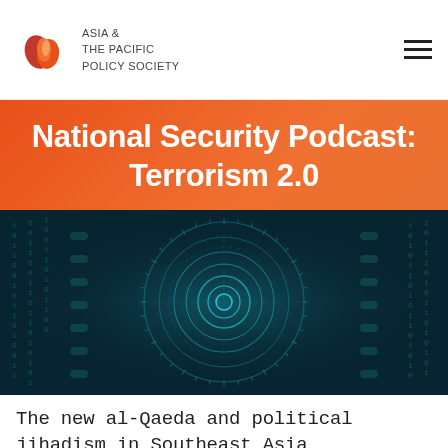ASIA & THE PACIFIC POLICY SOCIETY
National Security Podcast: Terrorism 2.0
[Figure (illustration): Dark teal/black digital cyber background with binary code patterns and concentric circular cyber/tech design elements glowing in blue-green on a dark background.]
The new al-Qaeda and political jihadism in Southeast Asia